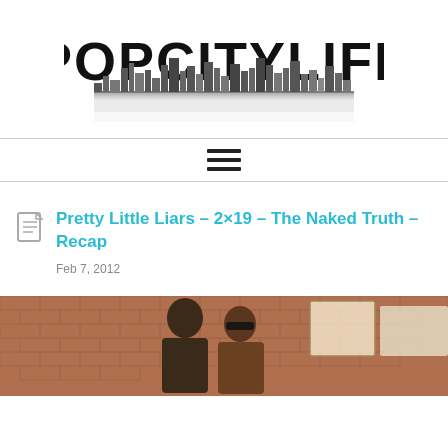[Figure (logo): POPCITYLIFE logo with city skyline silhouette below the text]
[Figure (infographic): Hamburger menu icon with three horizontal lines]
Pretty Little Liars – 2×19 – The Naked Truth – Recap
Feb 7, 2012
[Figure (photo): A man and woman smiling in front of a brick wall with bulletin boards]